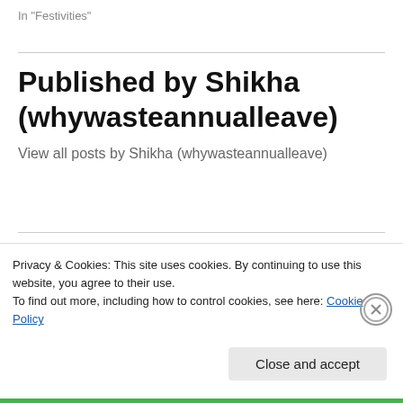In "Festivities"
Published by Shikha (whywasteannualleave)
View all posts by Shikha (whywasteannualleave)
City Break, Festivities, North America, USA
Privacy & Cookies: This site uses cookies. By continuing to use this website, you agree to their use.
To find out more, including how to control cookies, see here: Cookie Policy
Close and accept